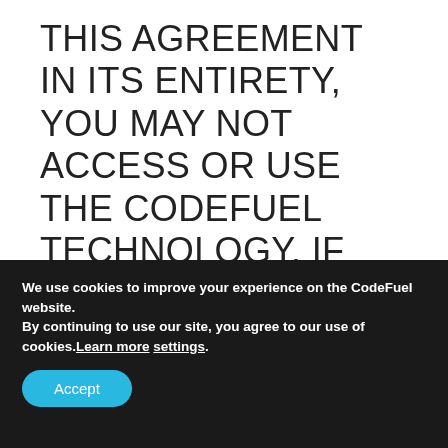THIS AGREEMENT IN ITS ENTIRETY, YOU MAY NOT ACCESS OR USE THE CODEFUEL TECHNOLOGY. IF YOU CONSENT TO THIS AGREEMENT ON BEHALF OF A BUSINESS, YOU REPRESENT AND WARRANT THAT YOU HAVE THE AUTHORITY TO BIND THAT BUSINESS TO THIS AGREEMENT AND YOUR CONSENT TO THIS AGREEMENT WILL BE TREATED AS THE CONSENT
We use cookies to improve your experience on the CodeFuel website. By continuing to use our site, you agree to our use of cookies. Learn more settings.
Accept